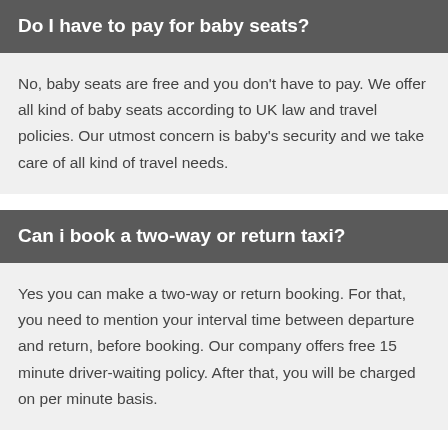Do I have to pay for baby seats?
No, baby seats are free and you don't have to pay. We offer all kind of baby seats according to UK law and travel policies. Our utmost concern is baby's security and we take care of all kind of travel needs.
Can i book a two-way or return taxi?
Yes you can make a two-way or return booking. For that, you need to mention your interval time between departure and return, before booking. Our company offers free 15 minute driver-waiting policy. After that, you will be charged on per minute basis.